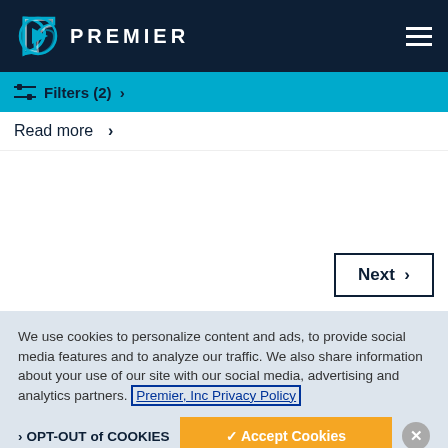PREMIER
Filters (2) >
Read more >
Next >
We use cookies to personalize content and ads, to provide social media features and to analyze our traffic. We also share information about your use of our site with our social media, advertising and analytics partners. Premier, Inc Privacy Policy
OPT-OUT of COOKIES
Accept Cookies